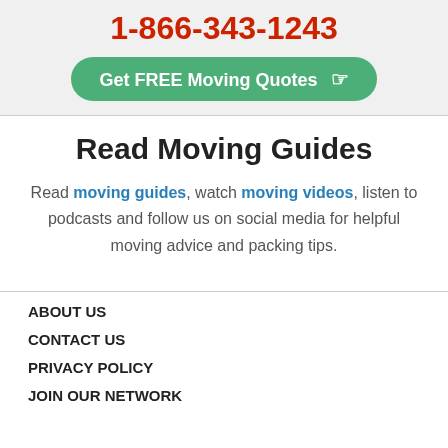1-866-343-1243
Get FREE Moving Quotes
Read Moving Guides
Read moving guides, watch moving videos, listen to podcasts and follow us on social media for helpful moving advice and packing tips.
ABOUT US
CONTACT US
PRIVACY POLICY
JOIN OUR NETWORK